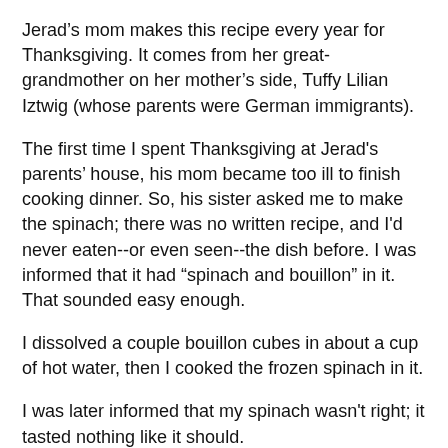Jerad’s mom makes this recipe every year for Thanksgiving. It comes from her great-grandmother on her mother’s side, Tuffy Lilian Iztwig (whose parents were German immigrants).
The first time I spent Thanksgiving at Jerad's parents’ house, his mom became too ill to finish cooking dinner. So, his sister asked me to make the spinach; there was no written recipe, and I'd never eaten--or even seen--the dish before. I was informed that it had "spinach and bouillon" in it. That sounded easy enough.
I dissolved a couple bouillon cubes in about a cup of hot water, then I cooked the frozen spinach in it.
I was later informed that my spinach wasn't right; it tasted nothing like it should.
Sheesh.
Last Saturday, I actually got to watch Gwen make the spinach. Wow, was it good! I ate the leftovers for breakfast